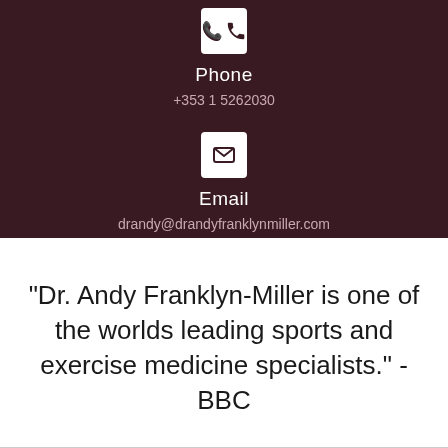[Figure (other): Phone handset icon in white box on dark background]
Phone
+353 1 5262030
[Figure (other): Envelope/email icon in white box on dark background]
Email
drandy@drandyfranklynmiller.com
"Dr. Andy Franklyn-Miller is one of the worlds leading sports and exercise medicine specialists." - BBC